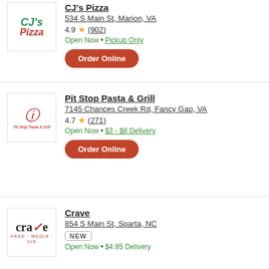[Figure (logo): CJ's Pizza logo with green italic 'CJ's' and red italic 'Pizza' text]
CJ's Pizza
534 S Main St, Marion, VA
4.9 ★ (902)
Open Now • Pickup Only
Order Online
[Figure (logo): Pit Stop Pasta & Grill logo with circular pasta icon and italic red text]
Pit Stop Pasta & Grill
7145 Chances Creek Rd, Fancy Gap, VA
4.7 ★ (271)
Open Now • $3 - $8 Delivery
Order Online
[Figure (logo): Crave restaurant logo with stylized lowercase 'crave' and italic subtitle text]
Crave
854 S Main St, Sparta, NC
NEW
Open Now • $4.95 Delivery